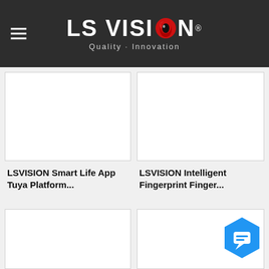LS VISION — Quality · Innovation
[Figure (photo): Product image placeholder (white rectangle) for LSVISION Smart Life App Tuya Platform product]
LSVISION Smart Life App Tuya Platform...
[Figure (photo): Product image placeholder (white rectangle) for LSVISION Intelligent Fingerprint Finger... product]
LSVISION Intelligent Fingerprint Finger...
[Figure (photo): Product image placeholder (white rectangle) — bottom-left card, partially visible]
[Figure (photo): Product image placeholder (white rectangle) — bottom-right card, partially visible]